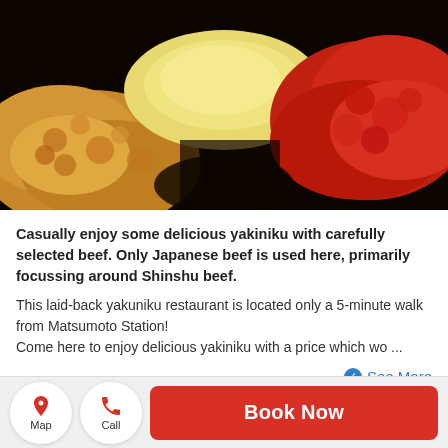[Figure (photo): Close-up food photo showing fried chicken pieces and red-sauced meat pieces on a dark background]
Casually enjoy some delicious yakiniku with carefully selected beef. Only Japanese beef is used here, primarily focussing around Shinshu beef.
This laid-back yakuniku restaurant is located only a 5-minute walk from Matsumoto Station!
Come here to enjoy delicious yakiniku with a price which wo ...
See More
Menu Recommendations
[Figure (photo): Small thumbnail of a meat dish on dark background]
□□□□□□□□□□